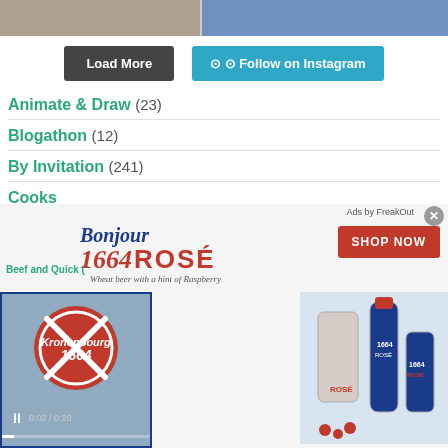[Figure (screenshot): Top image strip showing partial food/plate photos]
[Figure (screenshot): Load More and Follow on Instagram buttons]
Animate & Draw (23)
Blogathon (12)
By Invitation (241)
Cooks
[Figure (advertisement): Kronenbourg 1664 Rosé beer advertisement with video player showing bottle cap, and SHOP NOW button. Text: Bonjour 1664 ROSÉ Wheat beer with a hint of Raspberry. Ads by FreakOut.]